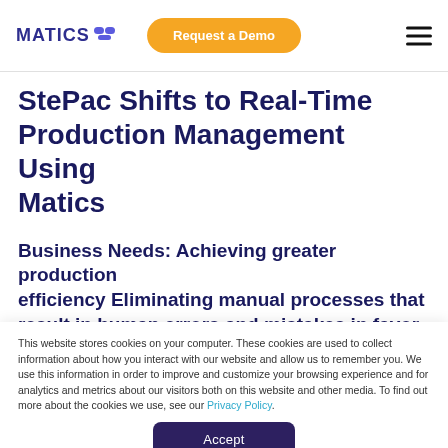MATICS | Request a Demo
StePac Shifts to Real-Time Production Management Using Matics
Business Needs: Achieving greater production efficiency Eliminating manual processes that result in human errors and mistakes in favor of an
This website stores cookies on your computer. These cookies are used to collect information about how you interact with our website and allow us to remember you. We use this information in order to improve and customize your browsing experience and for analytics and metrics about our visitors both on this website and other media. To find out more about the cookies we use, see our Privacy Policy.
Accept